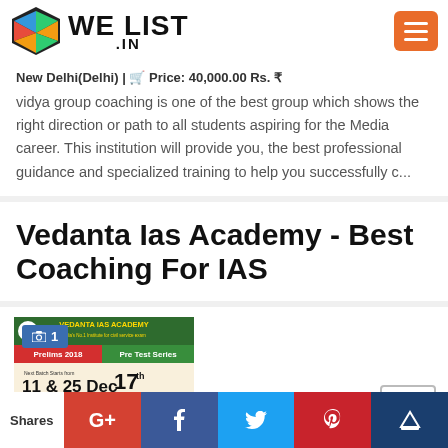WE LIST .IN
New Delhi(Delhi) | Price: 40,000.00 Rs. ₹
vidya group coaching is one of the best group which shows the right direction or path to all students aspiring for the Media career. This institution will provide you, the best professional guidance and specialized training to help you successfully c...
Vedanta Ias Academy - Best Coaching For IAS
[Figure (photo): Vedanta IAS Academy advertisement showing Prelims 2018 batch details, Pre Test Series starting 17th Dec, Next Batch 11 & 25 Dec, General Studies + CSAT, Foundation Batch 2019 Pre Cum Mains, Next Batch starts from 16th Jan]
Shares | G+ | f | Twitter | Pinterest | Crown